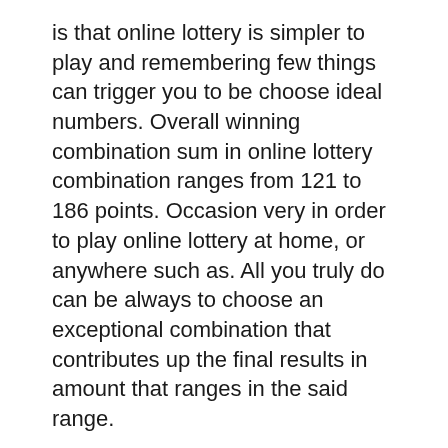is that online lottery is simpler to play and remembering few things can trigger you to be choose ideal numbers. Overall winning combination sum in online lottery combination ranges from 121 to 186 points. Occasion very in order to play online lottery at home, or anywhere such as. All you truly do can be always to choose an exceptional combination that contributes up the final results in amount that ranges in the said range.
So if you rarely or never takes place in lottery drawings, or if you has never happened before in lottery drawing history, doesn't' it make sense that it in all probability won't take place?